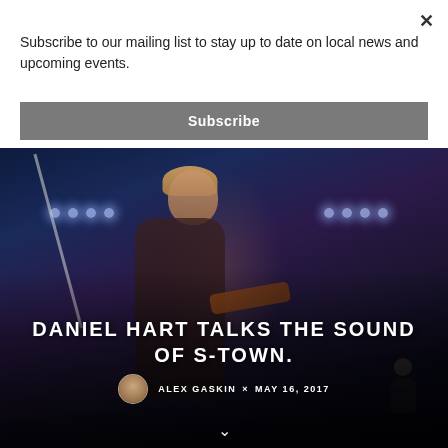Subscribe to our mailing list to stay up to date on local news and upcoming events.
Subscribe
[Figure (photo): Concert photo of a performer playing violin or similar string instrument on stage, with dramatic blue stage lighting, mic stand visible, and drummer silhouette in background]
DANIEL HART TALKS THE SOUND OF S-TOWN.
ALEX GASKIN × MAY 16, 2017